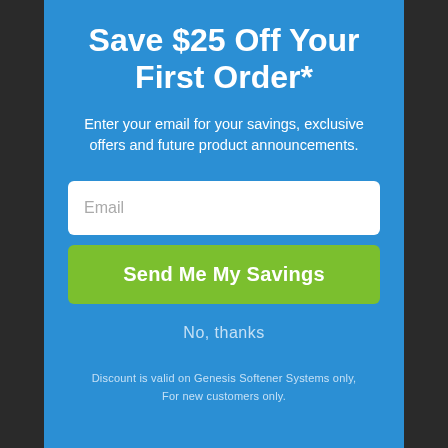Save $25 Off Your First Order*
Enter your email for your savings, exclusive offers and future product announcements.
Email
Send Me My Savings
No, thanks
Discount is valid on Genesis Softener Systems only. For new customers only.